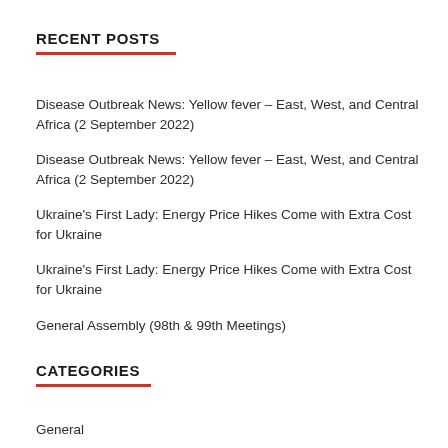RECENT POSTS
Disease Outbreak News: Yellow fever – East, West, and Central Africa (2 September 2022)
Disease Outbreak News: Yellow fever – East, West, and Central Africa (2 September 2022)
Ukraine's First Lady: Energy Price Hikes Come with Extra Cost for Ukraine
Ukraine's First Lady: Energy Price Hikes Come with Extra Cost for Ukraine
General Assembly (98th & 99th Meetings)
CATEGORIES
General